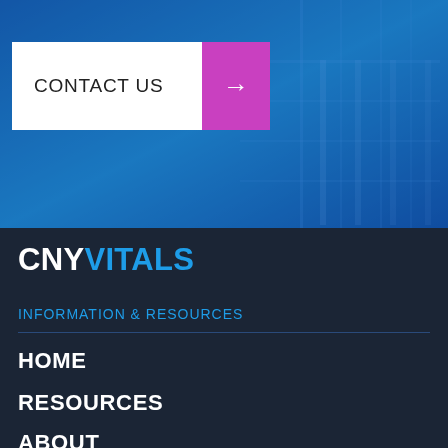[Figure (screenshot): Blue-tinted hero banner image showing a building/data center interior with glass and grid structures, overlaid with a blue gradient.]
CONTACT US →
CNYVITALS
INFORMATION & RESOURCES
HOME
RESOURCES
ABOUT